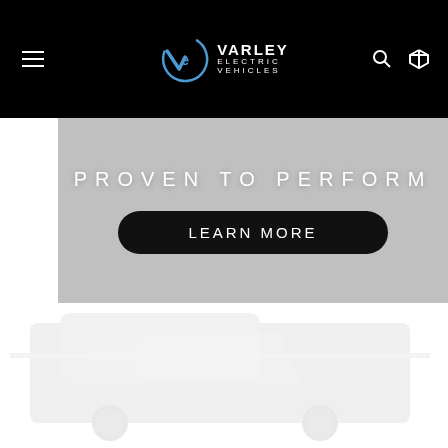[Figure (logo): Varley Electric Vehicles logo with stylized Ve emblem on black navigation bar]
PROVEN TO PERFORM
LEARN MORE
[Figure (photo): Faint/watermark-style image of electric vehicles in lower portion of page on white background]